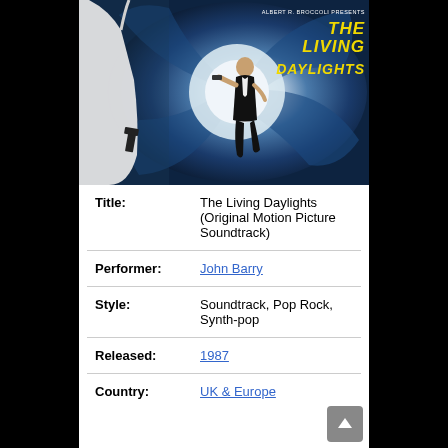[Figure (photo): Album cover for The Living Daylights Original Motion Picture Soundtrack. Shows a gun barrel spiral background in blue and white, a woman in a white dress holding a gun on the left, and a man in a tuxedo (James Bond) in the center-right. The title 'THE LIVING DAYLIGHTS' appears in yellow/gold italic text in the upper right corner.]
| Title: | The Living Daylights (Original Motion Picture Soundtrack) |
| Performer: | John Barry |
| Style: | Soundtrack, Pop Rock, Synth-pop |
| Released: | 1987 |
| Country: | UK & Europe |